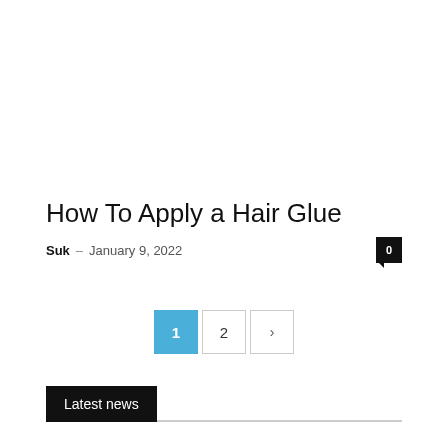How To Apply a Hair Glue
Suk – January 9, 2022
1 2 >
Latest news